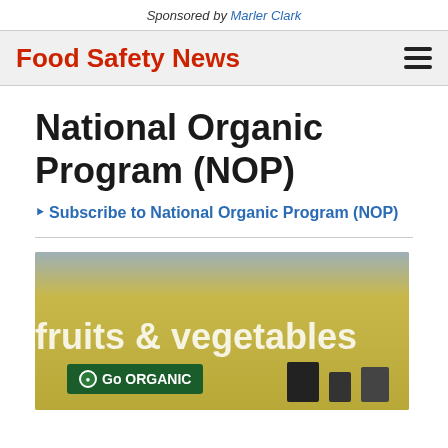Sponsored by Marler Clark
Food Safety News
National Organic Program (NOP)
Subscribe to National Organic Program (NOP)
[Figure (photo): Interior of a grocery store produce section showing a 'fruits & vegetables' sign in white text on a yellow/gold wall, with a green 'Go ORGANIC' sign with organic seal logo in the foreground, and shelving with products visible.]